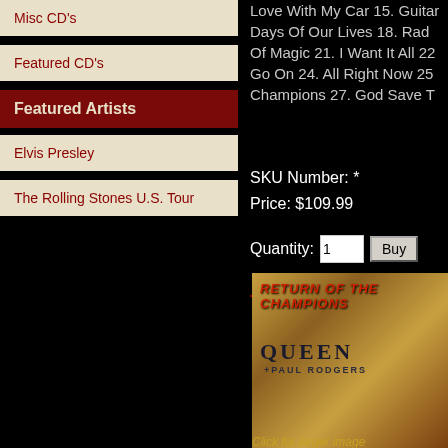Misc CD's
Featured CD's
Featured Artists
Elvis Presley
The Rolling Stones U.S. Tour
Love With My Car 15. Guitar... Days Of Our Lives 18. Rad... Of Magic 21. I Want It All 22... Go On 24. All Right Now 25... Champions 27. God Save T...
SKU Number: *
Price: $109.99
Quantity:
[Figure (photo): Album cover for Queen + Paul Rodgers 'Return of the Champions' showing band name on golden/brown textured background with red title text at top]
Click for larger image